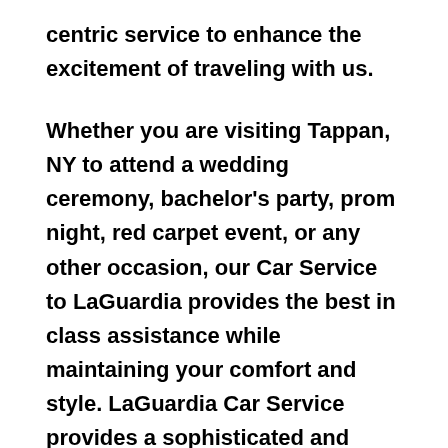centric service to enhance the excitement of traveling with us.
Whether you are visiting Tappan, NY to attend a wedding ceremony, bachelor's party, prom night, red carpet event, or any other occasion, our Car Service to LaGuardia provides the best in class assistance while maintaining your comfort and style. LaGuardia Car Service provides a sophisticated and alluring car rental service with professional and talented driver with the prime concern of utmost customer satisfaction and integrity.
With LaGuardia Car Service, we strive to maintain punctuality and timely transport as a primary concern. When it comes to airport transfers, no one